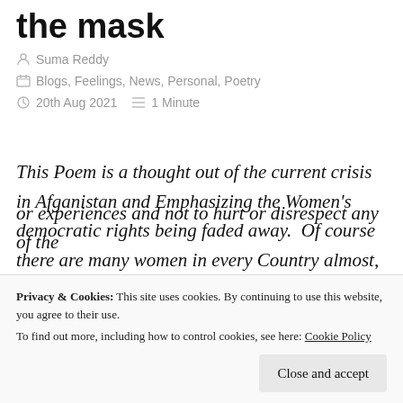the mask
Suma Reddy
Blogs, Feelings, News, Personal, Poetry
20th Aug 2021  1 Minute
This Poem is a thought out of the current crisis  in Afganistan and Emphasizing the Women's democratic rights being faded away.  Of course there are many women in every Country almost, who are struggling just wearing a mask of faded smile and living in silence as
or experiences and not to hurt or disrespect any of the
Privacy & Cookies: This site uses cookies. By continuing to use this website, you agree to their use.
To find out more, including how to control cookies, see here: Cookie Policy
Close and accept